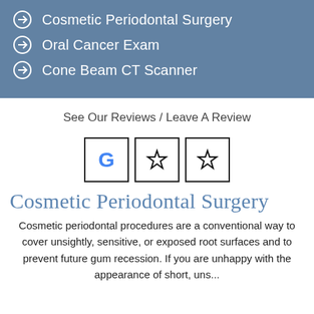Cosmetic Periodontal Surgery
Oral Cancer Exam
Cone Beam CT Scanner
See Our Reviews / Leave A Review
[Figure (logo): Three icon boxes: Google G logo, and two Yelp star icons]
Cosmetic Periodontal Surgery
Cosmetic periodontal procedures are a conventional way to cover unsightly, sensitive, or exposed root surfaces and to prevent future gum recession. If you are unhappy with the appearance of short, uns...